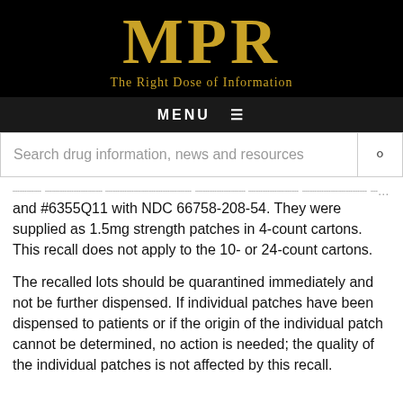[Figure (logo): MPR logo with tagline 'The Right Dose of Information' on black background]
MENU ≡
Search drug information, news and resources
....... .............. .............. ...../.... ...../... ....
and #6355Q11 with NDC 66758-208-54. They were supplied as 1.5mg strength patches in 4-count cartons. This recall does not apply to the 10- or 24-count cartons.
The recalled lots should be quarantined immediately and not be further dispensed. If individual patches have been dispensed to patients or if the origin of the individual patch cannot be determined, no action is needed; the quality of the individual patches is not affected by this recall.